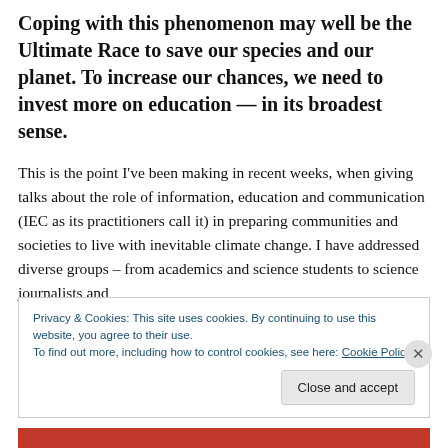Coping with this phenomenon may well be the Ultimate Race to save our species and our planet. To increase our chances, we need to invest more on education — in its broadest sense.
This is the point I've been making in recent weeks, when giving talks about the role of information, education and communication (IEC as its practitioners call it) in preparing communities and societies to live with inevitable climate change. I have addressed diverse groups – from academics and science students to science journalists and
Privacy & Cookies: This site uses cookies. By continuing to use this website, you agree to their use.
To find out more, including how to control cookies, see here: Cookie Policy